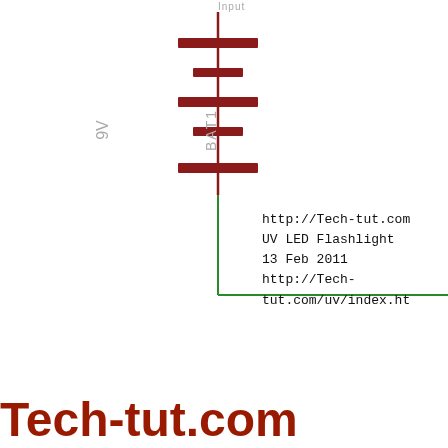[Figure (schematic): Partial electronic schematic showing a 9V battery (BAT1) with positive terminal at top, connected via red wire going down and green wire going right along the bottom. Labels show 'Input' at top, '9V' on left side, 'BAT1' rotated vertically on right of battery symbol. Text block shows URL and project info: http://Tech-tut.com, UV LED Flashlight, 13 Feb 2011, http://Tech-tut.com/uv/index.ht]
http://Tech-tut.com
UV LED Flashlight
13 Feb 2011
http://Tech-tut.com/uv/index.ht
Tech-tut.com